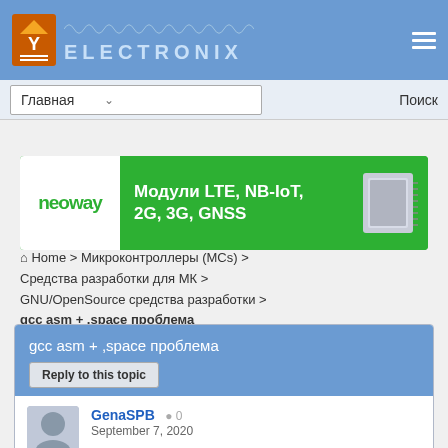[Figure (logo): Electronix website header logo with waveform graphic and site name ELECTRONIX in stylized text on blue background]
[Figure (infographic): Navigation bar with Главная dropdown and Поиск search link]
[Figure (infographic): Neoway advertisement banner: Модули LTE, NB-IoT, 2G, 3G, GNSS with module photo]
Home > Микроконтроллеры (MCs) > Средства разработки для МК > GNU/OpenSource средства разработки > gcc asm + ,space проблема
gcc asm + ,space проблема
Reply to this topic
GenaSPB  0
September 7, 2020